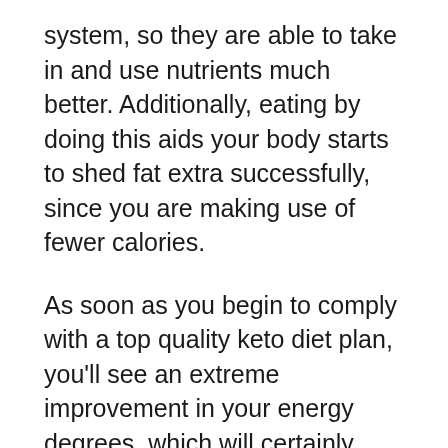system, so they are able to take in and use nutrients much better. Additionally, eating by doing this aids your body starts to shed fat extra successfully, since you are making use of fewer calories.
As soon as you begin to comply with a top quality keto diet plan, you'll see an extreme improvement in your energy degrees, which will certainly cause a rise in your general health. You might also see that you start to slim down extra quickly which you have extra endurance. Finally, keto diet regimens promote long-lasting weight loss. If you adhere to the strategy as well as bear in mind to eat healthy and balanced foods, you can expect to lose regarding 2 pounds a week, on average. With this level of loss